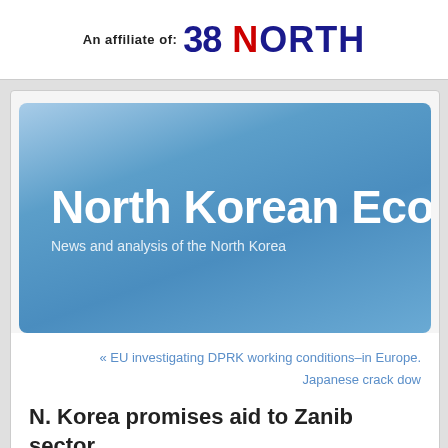An affiliate of: 38 NORTH
[Figure (illustration): Blue gradient banner with title 'North Korean Econ...' and subtitle 'News and analysis of the North Korea...']
North Korean Econ
News and analysis of the North Korea
« EU investigating DPRK working conditions–in Europe. Japanese crack dow
N. Korea promises aid to Zanib sector
Since North Korean diplomats and and embassies s